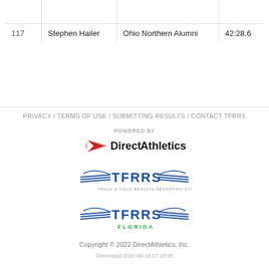| # | Name | Team | Time |
| --- | --- | --- | --- |
| 117 | Stephen Hailer | Ohio Northern Alumni | 42:28.6 |
PRIVACY / TERMS OF USE / SUBMITTING RESULTS / CONTACT TFRRS
Powered by DirectAthletics
TFRRS - Track & Field Results Reporting System
TFRRS Florida
Copyright © 2022 DirectAthletics, Inc.
Generated 2022-09-19 17:18:55